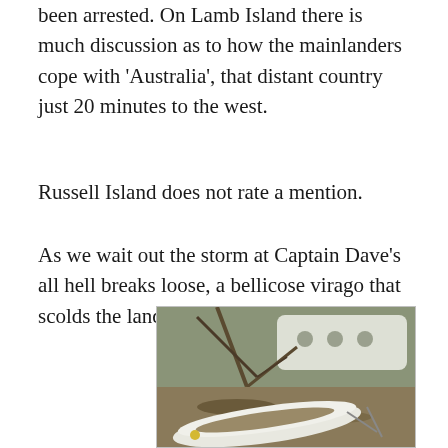been arrested. On Lamb Island there is much discussion as to how the mainlanders cope with 'Australia', that distant country just 20 minutes to the west.
Russell Island does not rate a mention.
As we wait out the storm at Captain Dave's all hell breaks loose, a bellicose virago that scolds the landscape with her hysteria.
[Figure (photo): A photograph of an abandoned or storm-damaged white boat hull lying on its side on the ground surrounded by fallen tree branches, debris, and overgrown vegetation. In the background, a larger white vessel or structure is partially visible behind trees.]